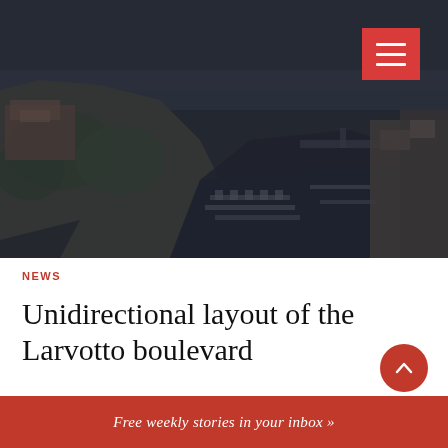[Figure (photo): Aerial view of Monaco harbor and coastline with dark overlay, showing rocky cliffs, marina with yachts, and coastal buildings]
NEWS
Unidirectional layout of the Larvotto boulevard
Free weekly stories in your inbox »